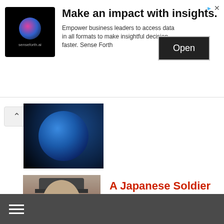[Figure (screenshot): Advertisement banner for senseforth.ai with logo, headline 'Make an impact with insights.', description text, and Open button]
Make an impact with insights.
Empower business leaders to access data in all formats to make insightful decision faster. Sense Forth
[Figure (photo): Earth globe image on dark background]
A Japanese Soldier Who Continued Fighting WWII 29 Years After the Japanese Surrendered, Because He Didn’t Know
What Causes “Eye Floaters”
≡